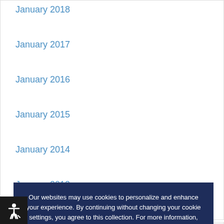January 2018
January 2017
January 2016
January 2015
January 2014
January 2013
Tag Cloud
Spring 2021 Summer 2021 Winter 2021 Winter 2015 Winter 2016 Winter 2017
Our websites may use cookies to personalize and enhance your experience. By continuing without changing your cookie settings, you agree to this collection. For more information, please see our UNIVERSITY WEBSITES PRIVACY NOTICE.